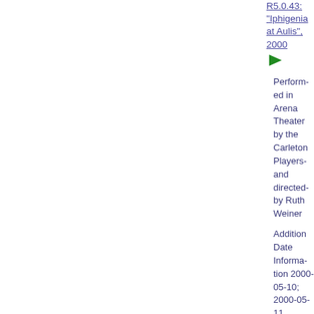R5.0.43: "Iphigenia at Aulis", 2000
[Figure (other): Green right-pointing triangle/arrow icon]
Performed in Arena Theater by the Carleton Players and directed by Ruth Weiner
Additional Date Information 2000-05-10; 2000-05-11